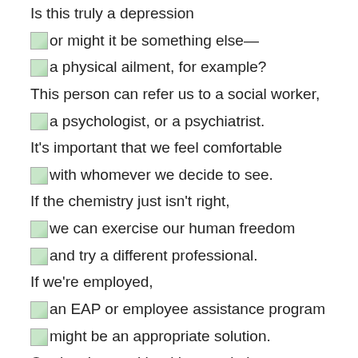Is this truly a depression
or might it be something else—
a physical ailment, for example?
This person can refer us to a social worker,
a psychologist, or a psychiatrist.
It's important that we feel comfortable
with whomever we decide to see.
If the chemistry just isn't right,
we can exercise our human freedom
and try a different professional.
If we're employed,
an EAP or employee assistance program
might be an appropriate solution.
Our local mental health association can help.
The appearance of depression is not a sign